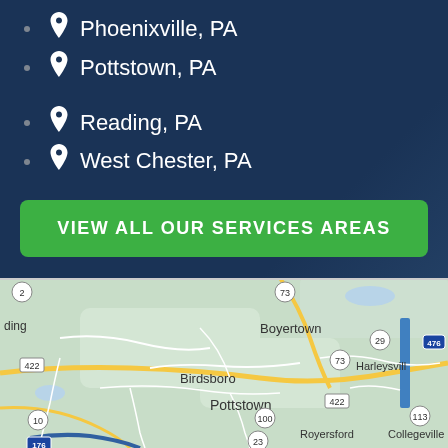Phoenixville, PA
Pottstown, PA
Reading, PA
West Chester, PA
VIEW ALL OUR SERVICES AREAS
[Figure (map): Road map showing the area around Pottstown, PA including Boyertown, Birdsboro, Royersford, Collegeville, Harleysville with route numbers 2, 73, 422, 29, 476, 73, 10, 100, 113, 23, 176]